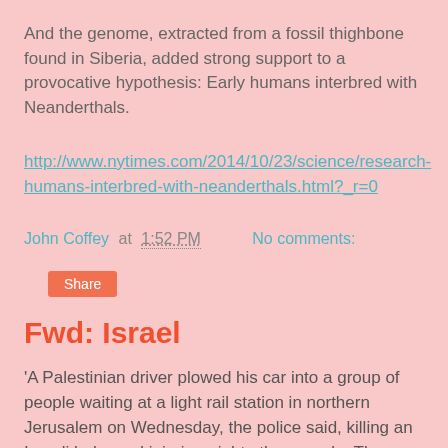And the genome, extracted from a fossil thighbone found in Siberia, added strong support to a provocative hypothesis: Early humans interbred with Neanderthals.
http://www.nytimes.com/2014/10/23/science/research-humans-interbred-with-neanderthals.html?_r=0
John Coffey at 1:52 PM   No comments:
Share
Fwd: Israel
'A Palestinian driver plowed his car into a group of people waiting at a light rail station in northern Jerusalem on Wednesday, the police said, killing an Israeli baby and injuring eight other people. The driver was shot and seriously